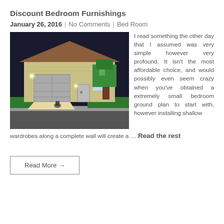Discount Bedroom Furnishings
January 26, 2016  |  No Comments  |  Bed Room
[Figure (illustration): A 3D rendered illustration of a suburban house at night with a garage, lit driveway, green lawn, and a blocky tree, in a video-game style.]
I read something the other day that I assumed was very simple however very profound. It isn't the most affordable choice, and would possibly even seem crazy when you've obtained a extremely small bedroom ground plan to start with, however installing shallow wardrobes along a complete wall will create a … Read the rest
Read More →